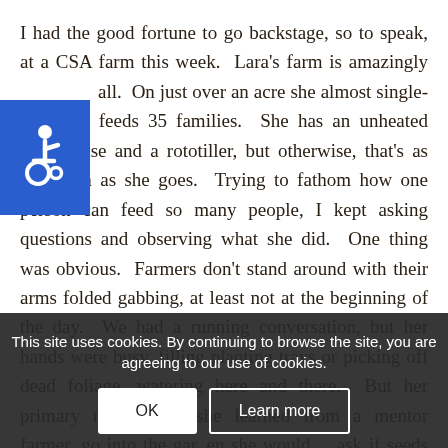I had the good fortune to go backstage, so to speak, at a CSA farm this week.  Lara's farm is amazingly [small].  On just over an acre she almost single-handedly feeds 35 families.  She has an unheated greenhouse and a rototiller, but otherwise, that's as high-tech as she goes.  Trying to fathom how one person can feed so many people, I kept asking questions and observing what she did.  One thing was obvious.  Farmers don't stand around with their arms folded gabbing, at least not at the beginning of the day.  We had a running conversation, but her hands were busy, filling planting trays or picking off dead foliage, watering here and there.  But her primary motto, that she learned from a mentor farmer ... go into the garden ... ask if seeds need to be started, deadheading and even watering can wait til later but if your seeds
[Figure (illustration): Accessibility icon: white wheelchair symbol on blue square background]
This site uses cookies. By continuing to browse the site, you are agreeing to our use of cookies.